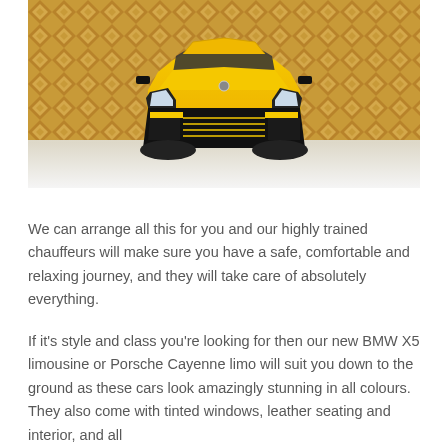[Figure (photo): Front-facing yellow Lamborghini Urus SUV photographed against a gold geometric patterned wall in a studio setting]
We can arrange all this for you and our highly trained chauffeurs will make sure you have a safe, comfortable and relaxing journey, and they will take care of absolutely everything.
If it's style and class you're looking for then our new BMW X5 limousine or Porsche Cayenne limo will suit you down to the ground as these cars look amazingly stunning in all colours. They also come with tinted windows, leather seating and interior, and all